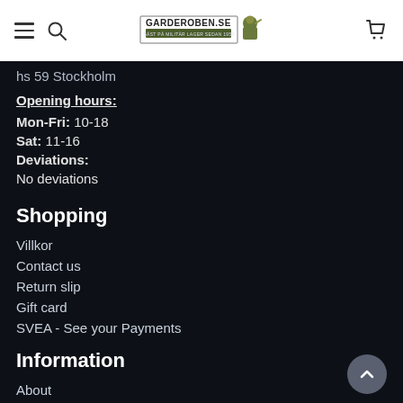GARDEROBEN.SE (navigation header with hamburger menu, search, logo, and cart icon)
hs 59 Stockholm
Opening hours:
Mon-Fri: 10-18
Sat: 11-16
Deviations:
No deviations
Shopping
Villkor
Contact us
Return slip
Gift card
SVEA - See your Payments
Information
About
News